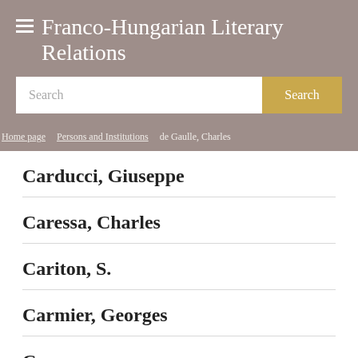Franco-Hungarian Literary Relations
Search
Home page / Persons and Institutions / de Gaulle, Charles
Carducci, Giuseppe
Caressa, Charles
Cariton, S.
Carmier, Georges
Carnet